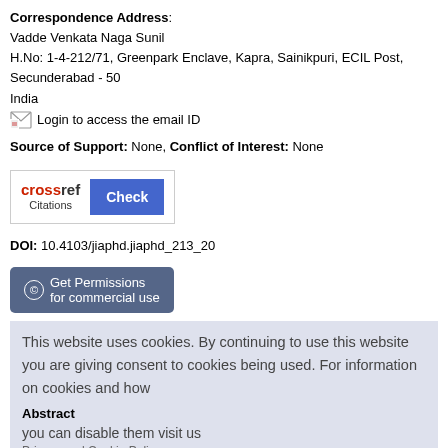Correspondence Address: Vadde Venkata Naga Sunil H.No: 1-4-212/71, Greenpark Enclave, Kapra, Sainikpuri, ECIL Post, Secunderabad - 50... India Login to access the email ID
Source of Support: None, Conflict of Interest: None
[Figure (logo): CrossRef Citations logo with Check button]
DOI: 10.4103/jiaphd.jiaphd_213_20
Get Permissions for commercial use
This website uses cookies. By continuing to use this website you are giving consent to cookies being used. For information on cookies and how you can disable them visit us
Abstract
Privacy and Cookie Policy
AGREE & PROCEED
Background: Economic evaluations in dentistry provide policymakers with facilitate efficient resource allocation. Dentistry involves multiple activities fo outcome. This original research aims to calculate direct treatment and indirect services provided at tertiary care referral dental center. Materials and Metho original study reporting is done based on using the Consolidated Health Econ Reporting Standards statement in dentistry, the basic dental services provided direct (revenue-generating) and indirect cost centers (nonrevenue generating based costing (ABC) method. The total cost generated is calculated by aggreg